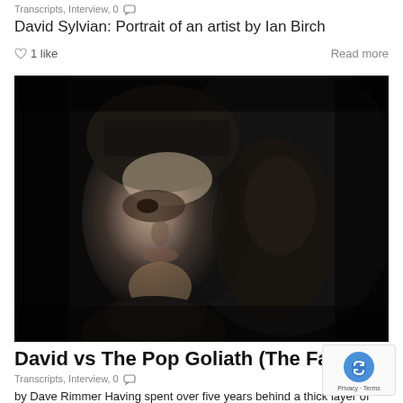Transcripts, Interview, 0
David Sylvian: Portrait of an artist by Ian Birch
♡ 1 like    Read more
[Figure (photo): Black and white portrait photograph of David Sylvian, a young man with dark hair falling over his face, looking directly at the camera with a serious expression, against a dark background.]
David vs The Pop Goliath (The Face, July 1982)
Transcripts, Interview, 0
by Dave Rimmer Having spent over five years behind a thick layer of